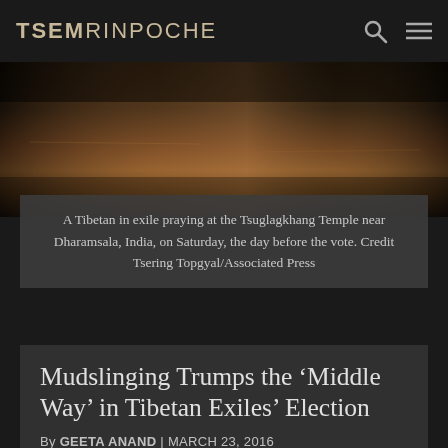TSEM RINPOCHE
[Figure (photo): Dark interior photo, possibly temple floor with reflective light, browns and dark tones]
A Tibetan in exile praying at the Tsuglagkhang Temple near Dharamsala, India, on Saturday, the day before the vote. Credit Tsering Topgyal/Associated Press
Mudslinging Trumps the ‘Middle Way’ in Tibetan Exiles’ Election
By GEETA ANAND | MARCH 23, 2016
Source:
http://www.nytimes.com/2016/03/24/world/asia/dalai-